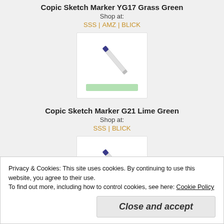Copic Sketch Marker YG17 Grass Green
Shop at:
SSS | AMZ | BLICK
[Figure (photo): Copic Sketch Marker YG17 Grass Green with light green color swatch below]
Copic Sketch Marker G21 Lime Green
Shop at:
SSS | BLICK
[Figure (photo): Copic Sketch Marker G21 Lime Green]
Privacy & Cookies: This site uses cookies. By continuing to use this website, you agree to their use.
To find out more, including how to control cookies, see here: Cookie Policy
Close and accept